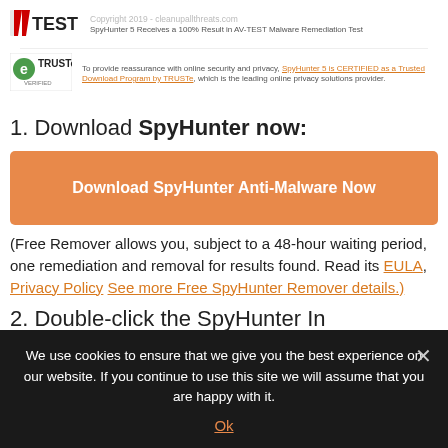[Figure (logo): AV-TEST logo with copyright text and tagline: SpyHunter 5 Receives a 100% Result in AV-TEST Malware Remediation Test]
[Figure (logo): TRUSTe VERIFIED logo with text: To provide reassurance with online security and privacy, SpyHunter 5 is CERTIFIED as a Trusted Download Program by TRUSTe, which is the leading online privacy solutions provider.]
1. Download SpyHunter now:
[Figure (other): Orange download button labeled 'Download SpyHunter Anti-Malware Now']
(Free Remover allows you, subject to a 48-hour waiting period, one remediation and removal for results found. Read its EULA, Privacy Policy See more Free SpyHunter Remover details.)
2. Double-click the SpyHunter In...
We use cookies to ensure that we give you the best experience on our website. If you continue to use this site we will assume that you are happy with it.
Ok